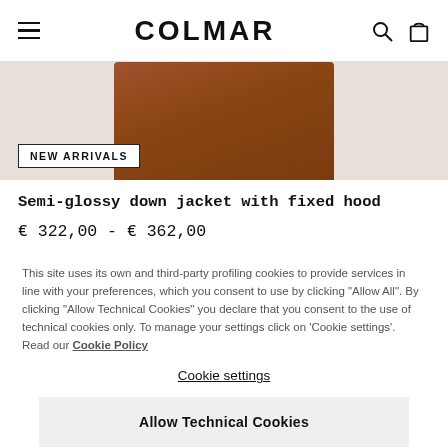COLMAR
[Figure (photo): Brown/rust-colored down jacket product photo on beige background, with NEW ARRIVALS badge overlay]
Semi-glossy down jacket with fixed hood
€ 322,00 - € 362,00
This site uses its own and third-party profiling cookies to provide services in line with your preferences, which you consent to use by clicking "Allow All". By clicking "Allow Technical Cookies" you declare that you consent to the use of technical cookies only. To manage your settings click on 'Cookie settings'. Read our Cookie Policy
Cookie settings
Allow Technical Cookies
Allow All